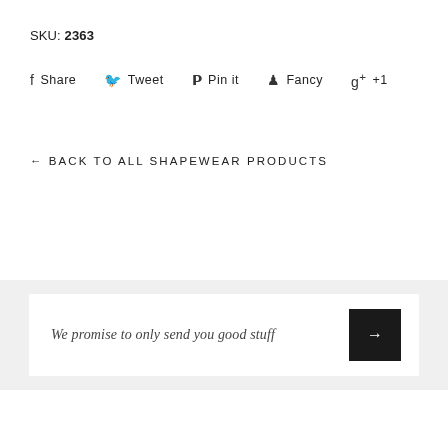SKU: 2363
Share  Tweet  Pin it  Fancy  +1
← BACK TO ALL SHAPEWEAR PRODUCTS
We promise to only send you good stuff